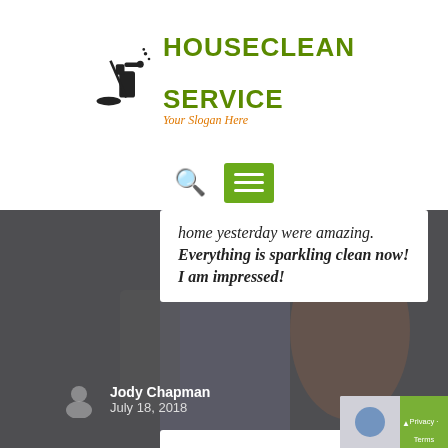[Figure (logo): HouseClean Service logo with cleaning spray bottle icon, green bold text reading HOUSECLEAN SERVICE, and orange italic slogan 'Your Slogan Here']
[Figure (screenshot): Navigation bar with search icon and green hamburger menu button]
home yesterday were amazing. Everything is sparkling clean now! I am impressed!
Jody Chapman
July 18, 2018
Fantastic Company!
[Figure (infographic): 5 green star rating icons]
We have an every week cleaning